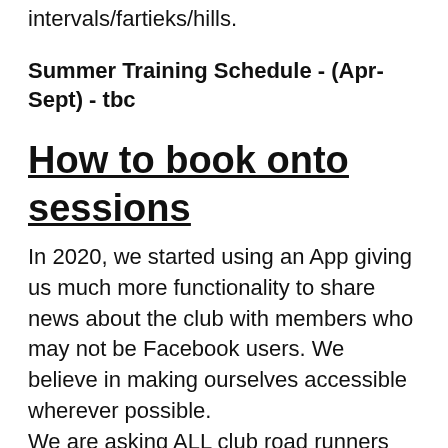intervals/fartieks/hills.
Summer Training Schedule - (Apr-Sept) - tbc
How to book onto sessions
In 2020, we started using an App giving us much more functionality to share news about the club with members who may not be Facebook users. We believe in making ourselves accessible wherever possible. We are asking ALL club road runners who are members to